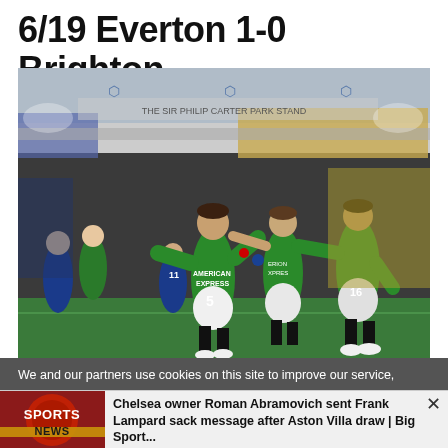6/19 Everton 1-0 Brighton
[Figure (photo): Brighton players in green jerseys celebrating on the pitch at Goodison Park stadium. Central player in number 5 jersey shouting with arms raised, teammates surrounding him.]
We and our partners use cookies on this site to improve our service,
[Figure (logo): Sports News logo — red circular graphic with SPORTS NEWS text]
Chelsea owner Roman Abramovich sent Frank Lampard sack message after Aston Villa draw | Big Sport...